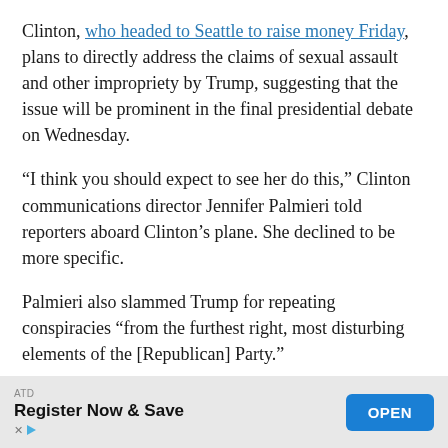Clinton, who headed to Seattle to raise money Friday, plans to directly address the claims of sexual assault and other impropriety by Trump, suggesting that the issue will be prominent in the final presidential debate on Wednesday.
“I think you should expect to see her do this,” Clinton communications director Jennifer Palmieri told reporters aboard Clinton’s plane. She declined to be more specific.
Palmieri also slammed Trump for repeating conspiracies “from the furthest right, most disturbing elements of the [Republican] Party.”
Clinton will spend time preparing for the debate in Las
[Figure (other): Advertisement banner: ATD label, 'Register Now & Save' text with X and play icons on left, blue 'OPEN' button on right]